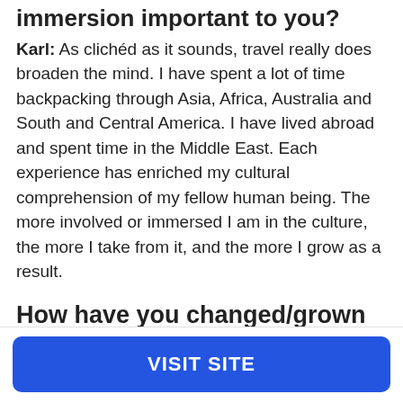immersion important to you?
Karl: As clichéd as it sounds, travel really does broaden the mind. I have spent a lot of time backpacking through Asia, Africa, Australia and South and Central America. I have lived abroad and spent time in the Middle East. Each experience has enriched my cultural comprehension of my fellow human being. The more involved or immersed I am in the culture, the more I take from it, and the more I grow as a result.
How have you changed/grown since working for your current company?
Karl: I think the day I stop learning in this role is the day I
VISIT SITE